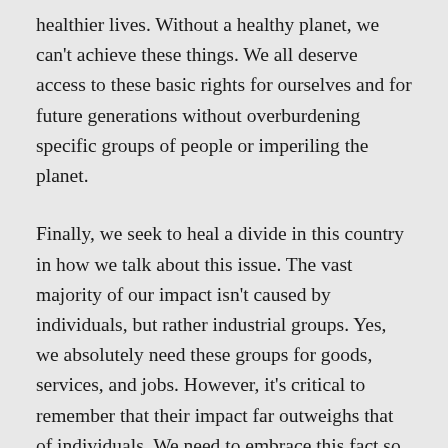healthier lives. Without a healthy planet, we can't achieve these things. We all deserve access to these basic rights for ourselves and for future generations without overburdening specific groups of people or imperiling the planet.
Finally, we seek to heal a divide in this country in how we talk about this issue. The vast majority of our impact isn't caused by individuals, but rather industrial groups. Yes, we absolutely need these groups for goods, services, and jobs. However, it's critical to remember that their impact far outweighs that of individuals. We need to embrace this fact so we can stop blaming each other, heal the divide between neighbors, and unite together in demanding